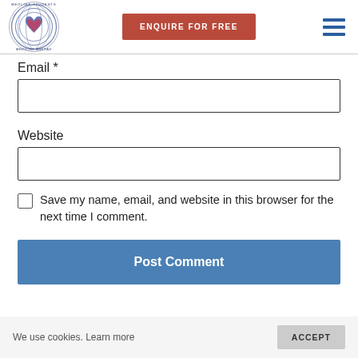[Figure (logo): Medlink Students – Study Medicine Abroad circular logo with globe and heart design]
ENQUIRE FOR FREE
[Figure (other): Hamburger menu icon with three horizontal blue lines]
Email *
Website
Save my name, email, and website in this browser for the next time I comment.
Post Comment
We use cookies. Learn more
ACCEPT